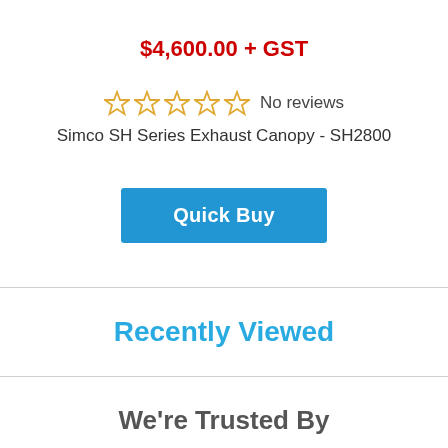$4,600.00 + GST
☆☆☆☆☆ No reviews
Simco SH Series Exhaust Canopy - SH2800
Quick Buy
Recently Viewed
We're Trusted By